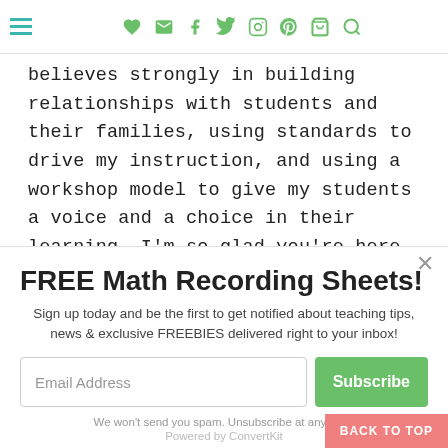Navigation bar with hamburger menu and social icons (heart, email, facebook, twitter, instagram, pinterest, cart, search)
believes strongly in building relationships with students and their families, using standards to drive my instruction, and using a workshop model to give my students a voice and a choice in their learning. I'm so glad you're here and a part of my teaching journey.
FREE Math Recording Sheets!
Sign up today and be the first to get notified about teaching tips, news & exclusive FREEBIES delivered right to your inbox!
Email Address
Subscribe
We won't send you spam. Unsubscribe at any time.
Powered by ConvertKit
BACK TO TOP